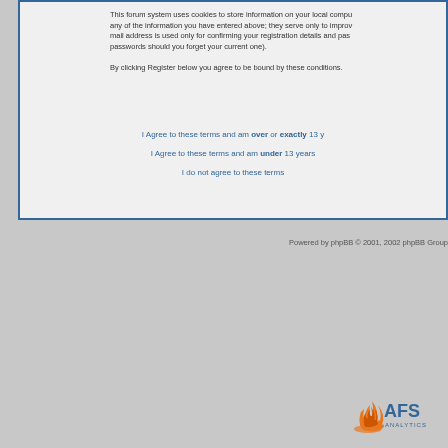This forum system uses cookies to store information on your local computer; they do not contain any of the information you have entered above; they serve only to improve your viewing pleasure. The e-mail address is used only for confirming your registration details and password (and for sending new passwords should you forget your current one).
By clicking Register below you agree to be bound by these conditions.
I Agree to these terms and am over or exactly 13 years of age
I Agree to these terms and am under 13 years of age
I do not agree to these terms
Powered by phpBB © 2001, 2002 phpBB Group